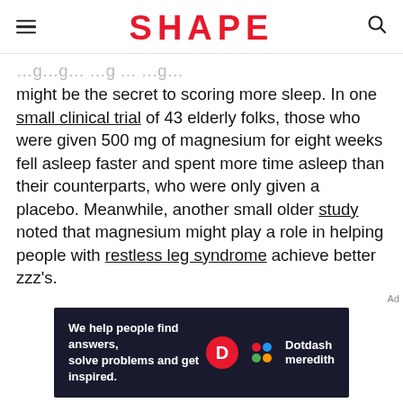SHAPE
might be the secret to scoring more sleep. In one small clinical trial of 43 elderly folks, those who were given 500 mg of magnesium for eight weeks fell asleep faster and spent more time asleep than their counterparts, who were only given a placebo. Meanwhile, another small older study noted that magnesium might play a role in helping people with restless leg syndrome achieve better zzz's.
Ad
[Figure (screenshot): Dotdash Meredith advertisement banner with dark background. Text reads: 'We help people find answers, solve problems and get inspired.' with Dotdash Meredith logo including colorful dots icon and red D circle.]